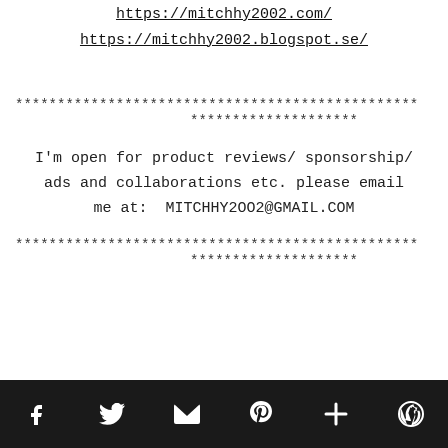https://mitchhy2002.com/
https://mitchhy2002.blogspot.se/
************************************************
********************
I'm open for product reviews/ sponsorship/ ads and collaborations etc. please email me at:  MITCHHY2OO2@GMAIL.COM
************************************************
********************
[social icons: Facebook, Twitter, Email, Pinterest, Plus, WordPress]